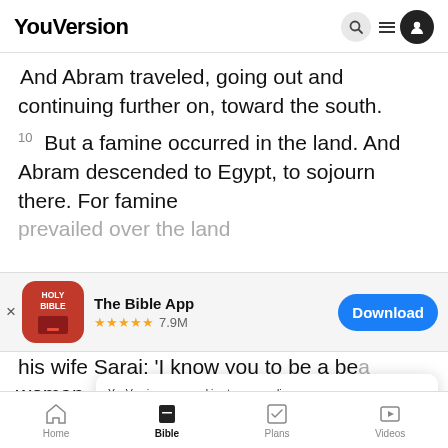YouVersion
And Abram traveled, going out and continuing further on, toward the south.
10 But a famine occurred in the land. And Abram descended to Egypt, to sojourn there. For famine prevailed over the land.
[Figure (screenshot): App download banner for The Bible App with Holy Bible icon, 5 star rating, 7.9M reviews, and Download button]
his wife Sarai: 'I know you to be a beautiful woman
12 A...
YouVersion uses cookies to personalize your experience. By using our website, you accept our use of cookies as described in our Privacy Policy.
Home   Bible   Plans   Videos